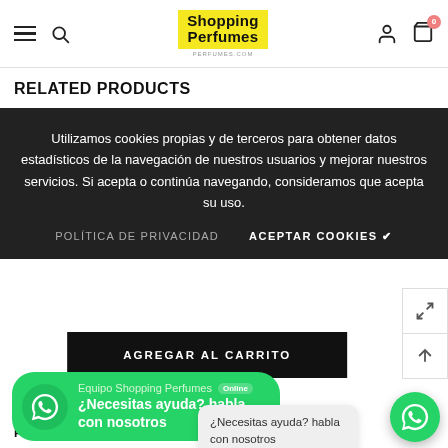Shopping Perfumes — navigation header with hamburger menu, search, logo, user icon, cart (0)
RELATED PRODUCTS
Utilizamos cookies propias y de terceros para obtener datos estadísticos de la navegación de nuestros usuarios y mejorar nuestros servicios. Si acepta o continúa navegando, consideramos que acepta su uso.
POLÍTICA DE PRIVACIDAD   ACEPTAR COOKIES ✔
AGREGAR AL CARRITO
[Figure (screenshot): WhatsApp chat widget bubble showing 'Equipo Shopping Perfumes Online' and '¿Necesitas ayuda? habla con nosotros']
¿Necesitas ayuda? habla con nosotros
Primero acepte nuestra política a... conversación.